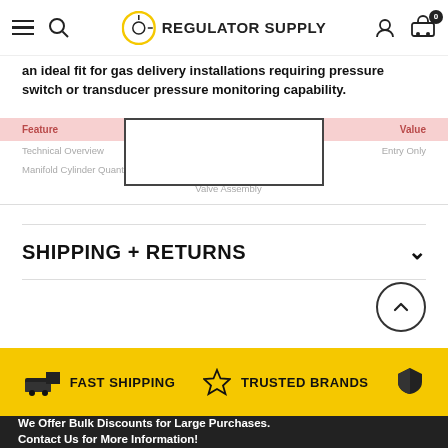Regulator Supply
an ideal fit for gas delivery installations requiring pressure switch or transducer pressure monitoring capability.
| Feature |  | Value |
| --- | --- | --- |
| Technical Overview |  |  |
| Manifold Cylinder Quantity |  |  |
|  | Valve Assembly |  |
SHIPPING + RETURNS
FAST SHIPPING
TRUSTED BRANDS
We Offer Bulk Discounts for Large Purchases. Contact Us for More Information!
SUBSCRIBE TO OUR NEWSLETTER